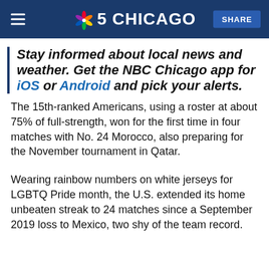NBC 5 Chicago | SHARE
Stay informed about local news and weather. Get the NBC Chicago app for iOS or Android and pick your alerts.
The 15th-ranked Americans, using a roster at about 75% of full-strength, won for the first time in four matches with No. 24 Morocco, also preparing for the November tournament in Qatar.
Wearing rainbow numbers on white jerseys for LGBTQ Pride month, the U.S. extended its home unbeaten streak to 24 matches since a September 2019 loss to Mexico, two shy of the team record.